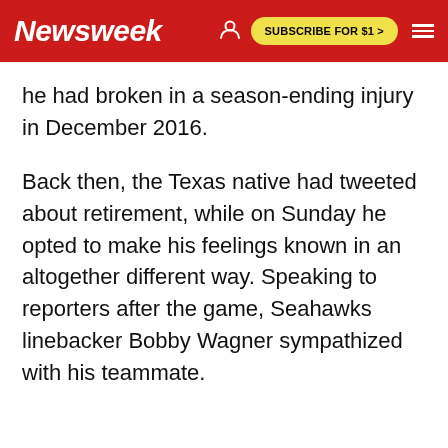Newsweek | SUBSCRIBE FOR $1 >
he had broken in a season-ending injury in December 2016.
Back then, the Texas native had tweeted about retirement, while on Sunday he opted to make his feelings known in an altogether different way. Speaking to reporters after the game, Seahawks linebacker Bobby Wagner sympathized with his teammate.